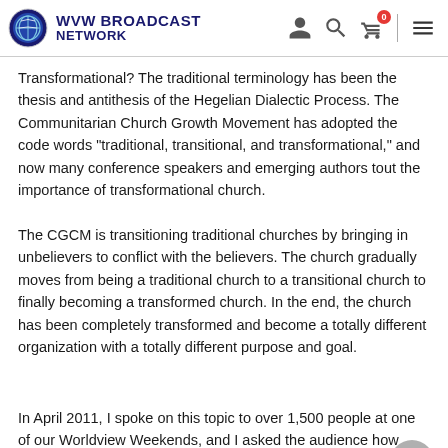WVW BROADCAST NETWORK
Transformational? The traditional terminology has been the thesis and antithesis of the Hegelian Dialectic Process. The Communitarian Church Growth Movement has adopted the code words "traditional, transitional, and transformational," and now many conference speakers and emerging authors tout the importance of transformational church.
The CGCM is transitioning traditional churches by bringing in unbelievers to conflict with the believers. The church gradually moves from being a traditional church to a transitional church to finally becoming a transformed church. In the end, the church has been completely transformed and become a totally different organization with a totally different purpose and goal.
In April 2011, I spoke on this topic to over 1,500 people at one of our Worldview Weekends, and I asked the audience how many of them,